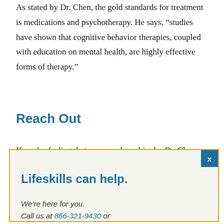As stated by Dr. Chen, the gold standards for treatment is medications and psychotherapy. He says, “studies have shown that cognitive behavior therapies, coupled with education on mental health, are highly effective forms of therapy.”
Reach Out
If you’re feeling that you may have bipolar Dr. Chen says, “Start with having a conversation with
Lifeskills can help.
We’re here for you.
Call us at 866-321-9430 or
email us today